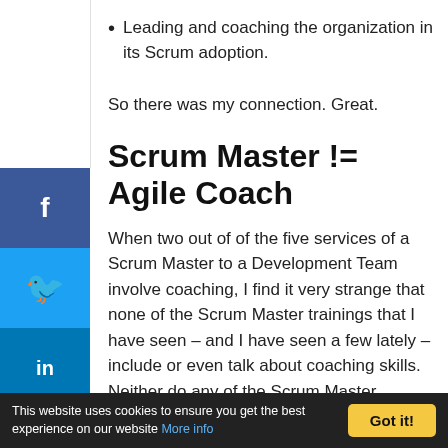Leading and coaching the organization in its Scrum adoption.
So there was my connection. Great.
Scrum Master != Agile Coach
When two out of of the five services of a Scrum Master to a Development Team involve coaching, I find it very strange that none of the Scrum Master trainings that I have seen – and I have seen a few lately – include or even talk about coaching skills. Neither do any of the Scrum Master certifications available talk about the need for coaching skills. The coaching aspect of being
This website uses cookies to ensure you get the best experience on our website More info  Got it!